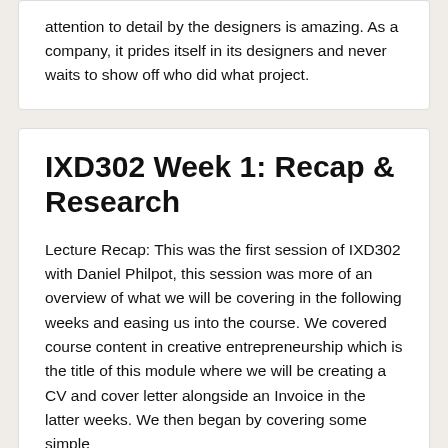attention to detail by the designers is amazing. As a company, it prides itself in its designers and never waits to show off who did what project.
IXD302 Week 1: Recap & Research
Lecture Recap: This was the first session of IXD302 with Daniel Philpot, this session was more of an overview of what we will be covering in the following weeks and easing us into the course. We covered course content in creative entrepreneurship which is the title of this module where we will be creating a CV and cover letter alongside an Invoice in the latter weeks. We then began by covering some simple